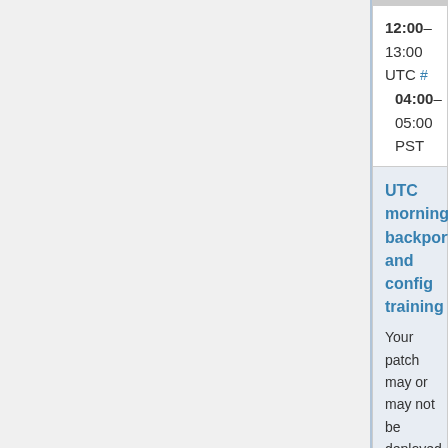12:00–13:00 UTC #
04:00–05:00 PST
UTC morning backport and config training
Your patch may or may not be deployed at the sole discretion of the deployer
(Max 6 patches)
|  |  |
| --- | --- |
| Deployer | Amir (Amir1), Lucas (Lucas_WMDE), Ariel (apergos) |
| Changes | Training to do backport and config deployment. To sign up for deployment training use the Deployment Training Request phabricator milestone
Requesting Developer (irc-nickname) |